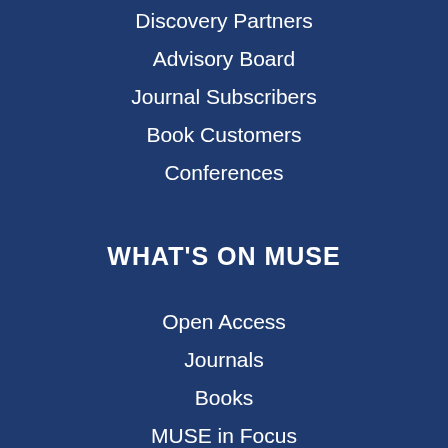Discovery Partners
Advisory Board
Journal Subscribers
Book Customers
Conferences
WHAT'S ON MUSE
Open Access
Journals
Books
MUSE in Focus
collapse
You are not currently authenticated.
If you would like to authenticate using a different subscribed institution or
This website uses cookies to ensure you get the best experience on our website. Without cookies your experience may not be seamless.
Accept